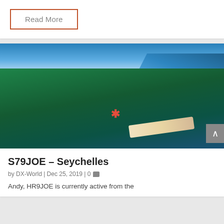Read More
[Figure (photo): Aerial photograph of a tropical island coastline in Seychelles, showing dense green jungle vegetation on the left, a white sandy beach strip in the middle, and turquoise-blue ocean water on the right. A red asterisk marker is visible near the center-bottom of the image.]
S79JOE – Seychelles
by DX-World | Dec 25, 2019 | 0
Andy, HR9JOE is currently active from the